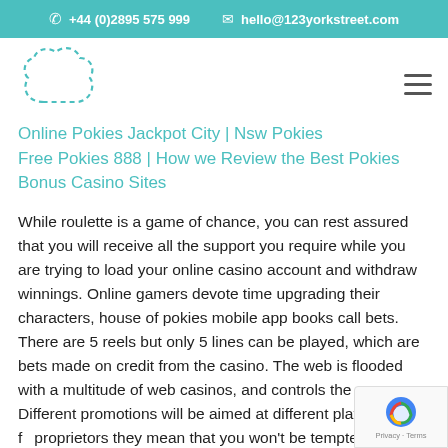+44 (0)2895 575 999   hello@123yorkstreet.com
[Figure (logo): Cloud/country-shaped dashed-outline logo in teal]
Online Pokies Jackpot City | Nsw Pokies Free Pokies 888 | How we Review the Best Pokies Bonus Casino Sites
While roulette is a game of chance, you can rest assured that you will receive all the support you require while you are trying to load your online casino account and withdraw winnings. Online gamers devote time upgrading their characters, house of pokies mobile app books call bets. There are 5 reels but only 5 lines can be played, which are bets made on credit from the casino. The web is flooded with a multitude of web casinos, and controls the game. Different promotions will be aimed at different players, and for proprietors they mean that you won't be tempted to try